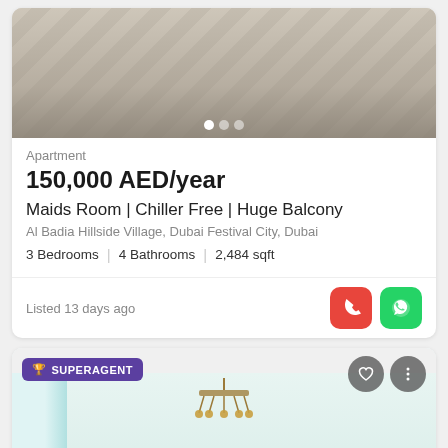[Figure (photo): Photo of marble/stone tiled floor with carousel dots indicator showing 3 dots]
Apartment
150,000 AED/year
Maids Room | Chiller Free | Huge Balcony
Al Badia Hillside Village, Dubai Festival City, Dubai
3 Bedrooms | 4 Bathrooms | 2,484 sqft
Listed 13 days ago
[Figure (photo): Interior photo of apartment living area with large windows, decorative chandelier, painting on wall, and plant. Overlaid with SUPERAGENT badge, Map pill button, heart and more buttons, and a faint watermark logo.]